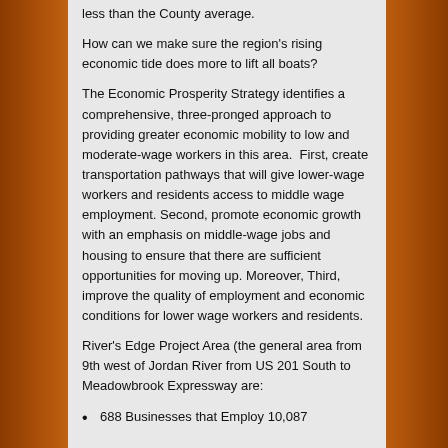less than the County average.
How can we make sure the region's rising economic tide does more to lift all boats?
The Economic Prosperity Strategy identifies a comprehensive, three-pronged approach to providing greater economic mobility to low and moderate-wage workers in this area.  First, create transportation pathways that will give lower-wage workers and residents access to middle wage employment. Second, promote economic growth with an emphasis on middle-wage jobs and housing to ensure that there are sufficient opportunities for moving up. Moreover, Third, improve the quality of employment and economic conditions for lower wage workers and residents.
River's Edge Project Area (the general area from 9th west of Jordan River from US 201 South to Meadowbrook Expressway are:
688 Businesses that Employ 10,087